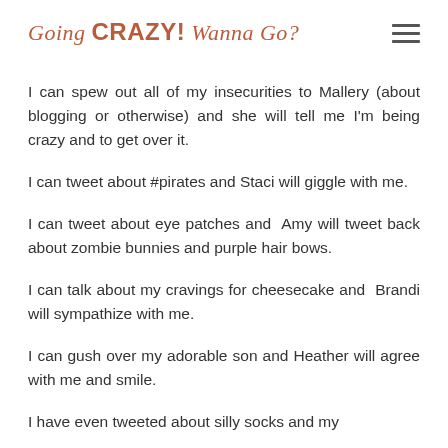Going CRAZY! Wanna Go?
I can spew out all of my insecurities to Mallery (about blogging or otherwise) and she will tell me I'm being crazy and to get over it.
I can tweet about #pirates and Staci will giggle with me.
I can tweet about eye patches and  Amy will tweet back about zombie bunnies and purple hair bows.
I can talk about my cravings for cheesecake and  Brandi will sympathize with me.
I can gush over my adorable son and Heather will agree with me and smile.
I have even tweeted about silly socks and my